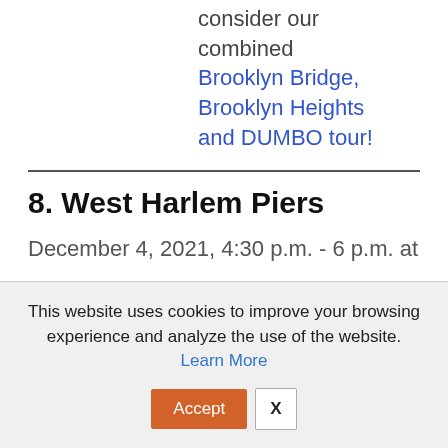consider our combined Brooklyn Bridge, Brooklyn Heights and DUMBO tour!
8. West Harlem Piers
December 4, 2021, 4:30 p.m. - 6 p.m. at
This website uses cookies to improve your browsing experience and analyze the use of the website. Learn More